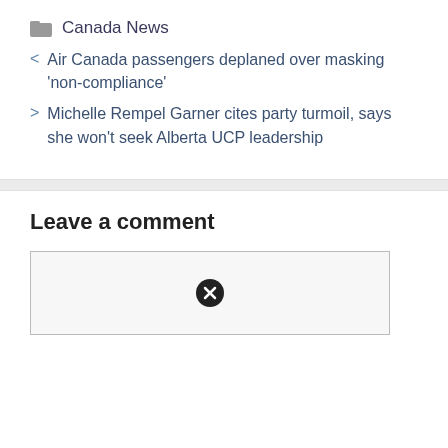Canada News
< Air Canada passengers deplaned over masking 'non-compliance'
> Michelle Rempel Garner cites party turmoil, says she won't seek Alberta UCP leadership
Leave a comment
[Figure (other): Comment text area with close (X) button icon in center]